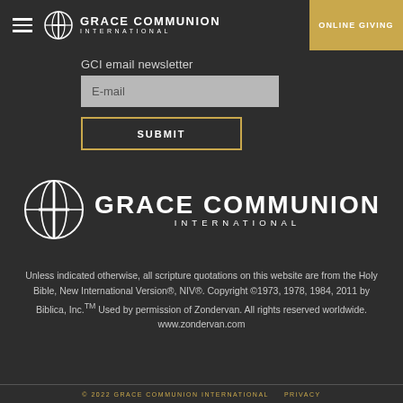GRACE COMMUNION INTERNATIONAL | ONLINE GIVING
GCI email newsletter
E-mail
SUBMIT
[Figure (logo): Grace Communion International globe and cross logo with text GRACE COMMUNION INTERNATIONAL]
Unless indicated otherwise, all scripture quotations on this website are from the Holy Bible, New International Version®, NIV®. Copyright ©1973, 1978, 1984, 2011 by Biblica, Inc.™ Used by permission of Zondervan. All rights reserved worldwide. www.zondervan.com
© 2022 GRACE COMMUNION INTERNATIONAL   PRIVACY